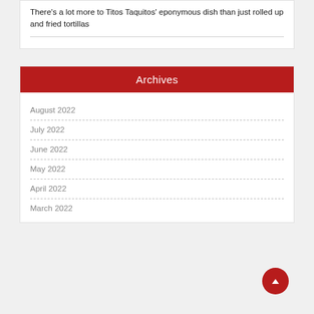There's a lot more to Titos Taquitos' eponymous dish than just rolled up and fried tortillas
Archives
August 2022
July 2022
June 2022
May 2022
April 2022
March 2022